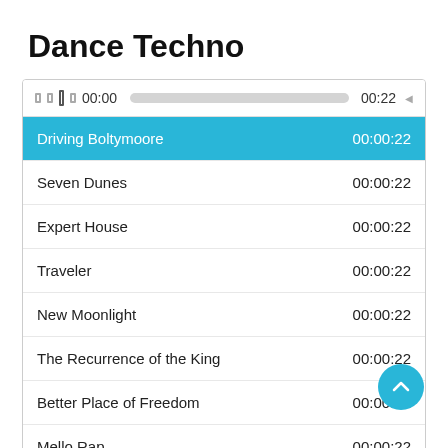Dance Techno
| Track | Duration |
| --- | --- |
| Driving Boltymoore | 00:00:22 |
| Seven Dunes | 00:00:22 |
| Expert House | 00:00:22 |
| Traveler | 00:00:22 |
| New Moonlight | 00:00:22 |
| The Recurrence of the King | 00:00:22 |
| Better Place of Freedom | 00:00:22 |
| Mello Rap | 00:00:22 |
| Expedite | 00:00:22 |
| Summit | 00:00:22 |